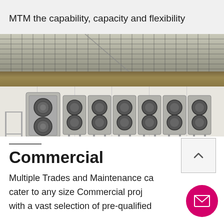MTM the capability, capacity and flexibility to service any mining project.
[Figure (photo): Industrial ceiling with metal cable tray grid and wooden beam below]
[Figure (photo): Row of air conditioning/HVAC outdoor units mounted on brackets along a white wall above a parking area with hazard striping]
Commercial
Multiple Trades and Maintenance cater to any size Commercial project with a vast selection of pre-qualified